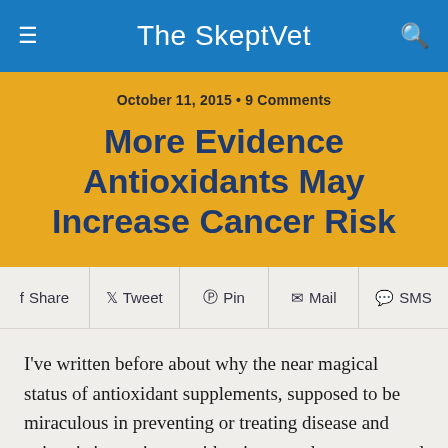The SkeptVet
More Evidence Antioxidants May Increase Cancer Risk
October 11, 2015 • 9 Comments
Share  Tweet  Pin  Mail  SMS
I've written before about why the near magical status of antioxidant supplements, supposed to be miraculous in preventing or treating disease and aging, is inconsistent with science and not supported by good evidence. Antioxidants in general, and specific supplements like resveratrol (1, 2, 3) and